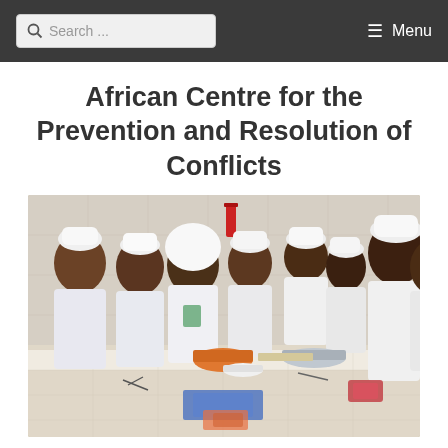Search ... Menu
African Centre for the Prevention and Resolution of Conflicts
[Figure (photo): Group of people wearing white chef uniforms and hats seated and standing around a kitchen counter with cooking bowls and utensils on white tiled surfaces.]